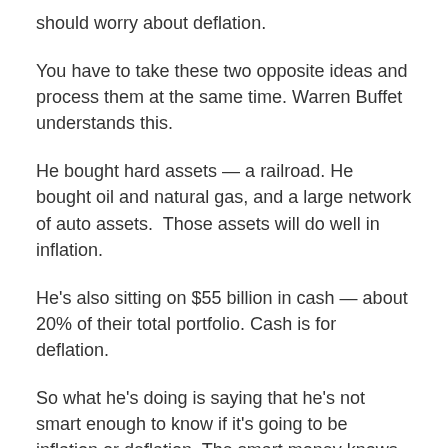should worry about deflation.
You have to take these two opposite ideas and process them at the same time. Warren Buffet understands this.
He bought hard assets — a railroad. He bought oil and natural gas, and a large network of auto assets.  Those assets will do well in inflation.
He's also sitting on $55 billion in cash — about 20% of their total portfolio. Cash is for deflation.
So what he's doing is saying that he's not smart enough to know if it's going to be inflation or deflation. The smart money knows that it could be either one.
So you need to prepare for both.
Have hard assets in your portfolio. Most of us can't buy a